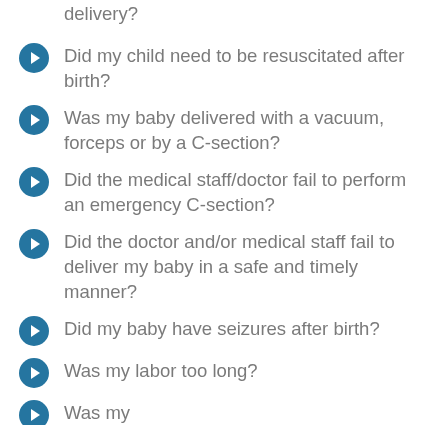delivery?
Did my child need to be resuscitated after birth?
Was my baby delivered with a vacuum, forceps or by a C-section?
Did the medical staff/doctor fail to perform an emergency C-section?
Did the doctor and/or medical staff fail to deliver my baby in a safe and timely manner?
Did my baby have seizures after birth?
Was my labor too long?
Was my...